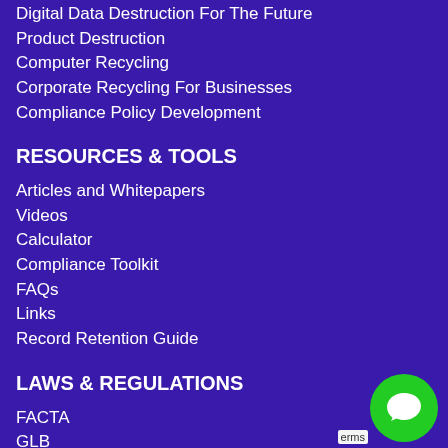Digital Data Destruction For The Future
Product Destruction
Computer Recycling
Corporate Recycling For Businesses
Compliance Policy Development
RESOURCES & TOOLS
Articles and Whitepapers
Videos
Calculator
Compliance Toolkit
FAQs
Links
Record Retention Guide
LAWS & REGULATIONS
FACTA
GLB
HIPAA